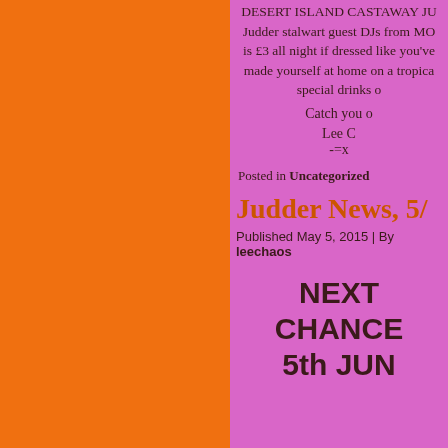DESERT ISLAND CASTAWAY JU... Judder stalwart guest DJs from MO... is £3 all night if dressed like you've made yourself at home on a tropica... special drinks o...
Catch you o...
Lee C... -=x...
Posted in Uncategorized
Judder News, 5/...
Published May 5, 2015 | By leechaos
NEXT CHANCE 5th JUN...